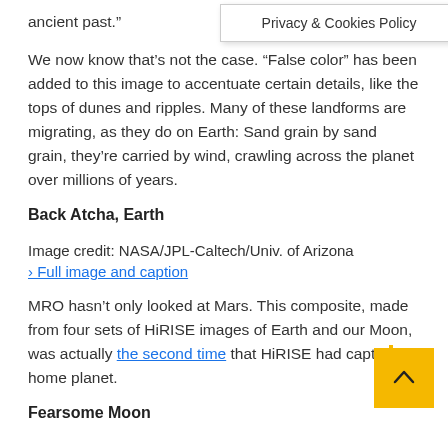ancient past.”
Privacy & Cookies Policy
We now know that’s not the case. “False color” has been added to this image to accentuate certain details, like the tops of dunes and ripples. Many of these landforms are migrating, as they do on Earth: Sand grain by sand grain, they’re carried by wind, crawling across the planet over millions of years.
Back Atcha, Earth
Image credit: NASA/JPL-Caltech/Univ. of Arizona
› Full image and caption
MRO hasn’t only looked at Mars. This composite, made from four sets of HiRISE images of Earth and our Moon, was actually the second time that HiRISE had captured our home planet.
Fearsome Moon